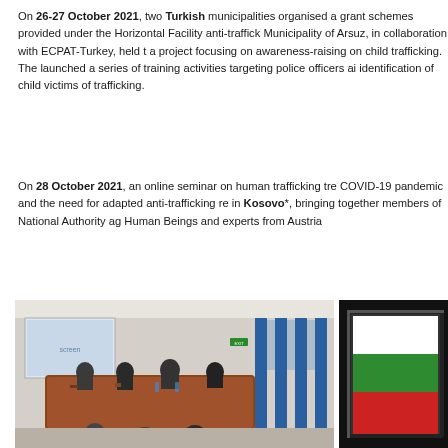On 26-27 October 2021, two Turkish municipalities organised activities under grant schemes provided under the Horizontal Facility anti-trafficking projects. Municipality of Arsuz, in collaboration with ECPAT-Turkey, held the launch of a project focusing on awareness-raising on child trafficking. The Municipality launched a series of training activities targeting police officers aimed at the identification of child victims of trafficking.
On 28 October 2021, an online seminar on human trafficking trends during COVID-19 pandemic and the need for adapted anti-trafficking responses was held in Kosovo*, bringing together members of National Authority against Trafficking in Human Beings and experts from Austria
[Figure (photo): Photo of a meeting room with people seated around a large wooden conference table, a projection screen visible in background, blue window frames on the right side.]
[Figure (photo): Photo of a flag displayed on a dark/black background, showing what appears to be a white, green, and red horizontal striped flag (Bulgarian flag).]